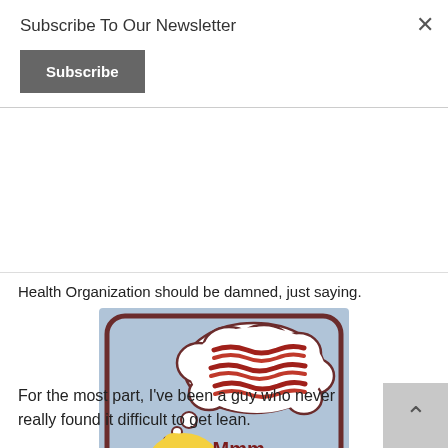Subscribe To Our Newsletter
Subscribe
Health Organization should be damned, just saying.
[Figure (illustration): Homer Simpson thinking about bacon with text 'Mmm... BACON' on a light blue background]
For the most part, I've been a guy who never really found it difficult to get lean.